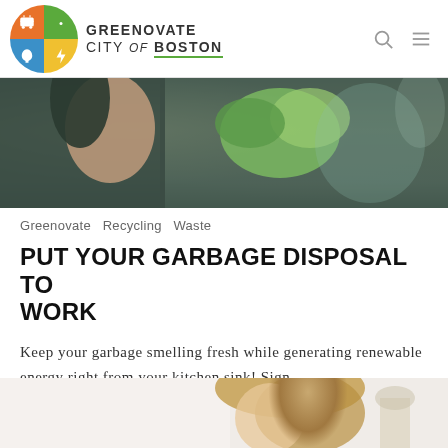GREENOVATE CITY of BOSTON
[Figure (photo): Photo of person putting food scraps into a trash bag, composting or garbage disposal activity]
Greenovate  Recycling  Waste
PUT YOUR GARBAGE DISPOSAL TO WORK
Keep your garbage smelling fresh while generating renewable energy right from your kitchen sink! Sign...
[Figure (photo): Photo of a woman in a kitchen, partially visible at bottom of page]